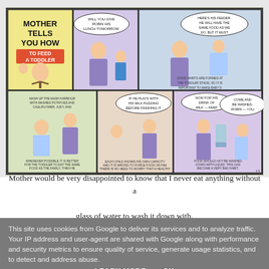[Figure (illustration): Vintage comic strip titled 'Mother Tells You How To Feed A Toddler'. Six illustrated panels showing a mother figure instructing about feeding toddlers, including washing hands before meals, serving food, mashing potatoes with cauliflower and butter, handling a child playing with pudding, giving milk as the last drink, and encouraging the child to wash and eat nicely. Caption text in panels discusses good habits at the toddler stage.]
Mother would be very disappointed to know that I never eat anything without a glass of water to wash it down with.
This site uses cookies from Google to deliver its services and to analyze traffic. Your IP address and user-agent are shared with Google along with performance and security metrics to ensure quality of service, generate usage statistics, and to detect and address abuse.
LEARN MORE    OK